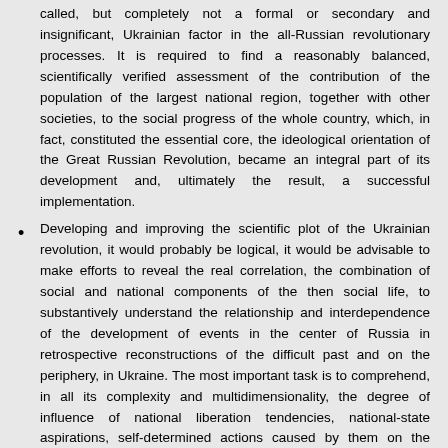called, but completely not a formal or secondary and insignificant, Ukrainian factor in the all-Russian revolutionary processes. It is required to find a reasonably balanced, scientifically verified assessment of the contribution of the population of the largest national region, together with other societies, to the social progress of the whole country, which, in fact, constituted the essential core, the ideological orientation of the Great Russian Revolution, became an integral part of its development and, ultimately the result, a successful implementation.
Developing and improving the scientific plot of the Ukrainian revolution, it would probably be logical, it would be advisable to make efforts to reveal the real correlation, the combination of social and national components of the then social life, to substantively understand the relationship and interdependence of the development of events in the center of Russia in retrospective reconstructions of the difficult past and on the periphery, in Ukraine. The most important task is to comprehend, in all its complexity and multidimensionality, the degree of influence of national liberation tendencies, national-state aspirations, self-determined actions caused by them on the revival of national life in conditions of an incredible aggravation of the class struggle and cardinal socio-economic, political changes, and an increase in the level of public consciousness. It is necessary to develop a scientific qualification, adequate to the experienced